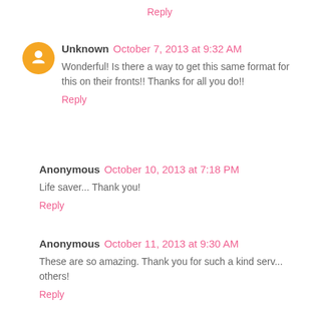Reply
Unknown October 7, 2013 at 9:32 AM
Wonderful! Is there a way to get this same format for this on their fronts!! Thanks for all you do!!
Reply
Anonymous October 10, 2013 at 7:18 PM
Life saver... Thank you!
Reply
Anonymous October 11, 2013 at 9:30 AM
These are so amazing. Thank you for such a kind serv... others!
Reply